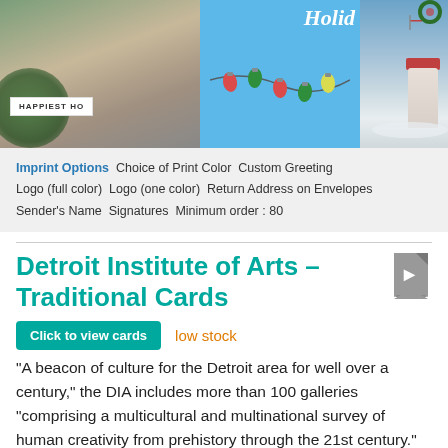[Figure (photo): Three holiday card images side by side: left shows people with pine branches and 'Happiest Ho' banner, middle shows blue background with colorful Christmas lights and 'Holid' text, right shows a lighthouse scene in winter.]
Imprint Options  Choice of Print Color  Custom Greeting  Logo (full color)  Logo (one color)  Return Address on Envelopes  Sender's Name  Signatures  Minimum order : 80
Detroit Institute of Arts – Traditional Cards
Click to view cards  low stock
“A beacon of culture for the Detroit area for well over a century,” the DIA includes more than 100 galleries “comprising a multicultural and multinational survey of human creativity from prehistory through the 21st century.” Based in Detroit, MI.